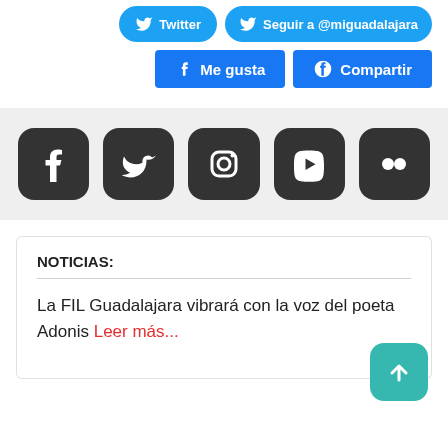[Figure (screenshot): Social media share buttons: Twitter button (partially visible), Follow @miguadalajara button (partially visible), Me gusta (Facebook Like) button, Compartir (Facebook Share) button]
[Figure (infographic): Social media icon bar with dark rounded square icons for Facebook, Twitter, Instagram, YouTube, and Flickr on a light grey background]
NOTICIAS:
La FIL Guadalajara vibrará con la voz del poeta Adonis Leer más...